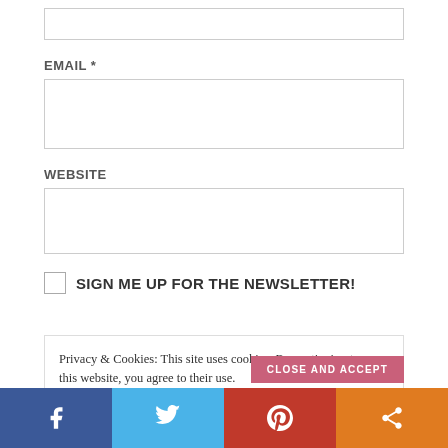EMAIL *
WEBSITE
SIGN ME UP FOR THE NEWSLETTER!
Privacy & Cookies: This site uses cookies. By continuing to use this website, you agree to their use.
To find out more, including how to control cookies, see here: Cookie Policy
CLOSE AND ACCEPT